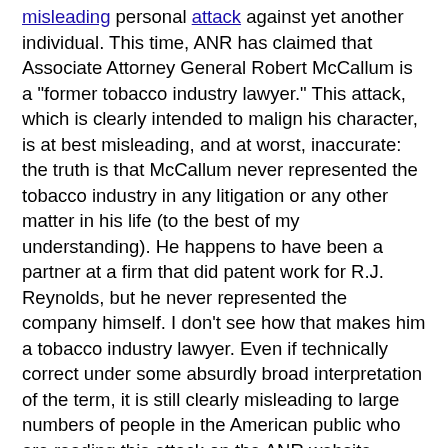misleading personal attack against yet another individual. This time, ANR has claimed that Associate Attorney General Robert McCallum is a "former tobacco industry lawyer." This attack, which is clearly intended to malign his character, is at best misleading, and at worst, inaccurate: the truth is that McCallum never represented the tobacco industry in any litigation or any other matter in his life (to the best of my understanding). He happens to have been a partner at a firm that did patent work for R.J. Reynolds, but he never represented the company himself. I don't see how that makes him a tobacco industry lawyer. Even if technically correct under some absurdly broad interpretation of the term, it is still clearly misleading to large numbers of people in the American public who are reading this attack on the ANR website.
As I have found out over the past two decades, there are a lot of individuals who disagree with a number of positions that the anti-smoking movement has taken (interestingly, now I find myself to be one of them). And not all of these individuals are affiliated with, or working for the tobacco industry. As individuals who are not part of a tobacco